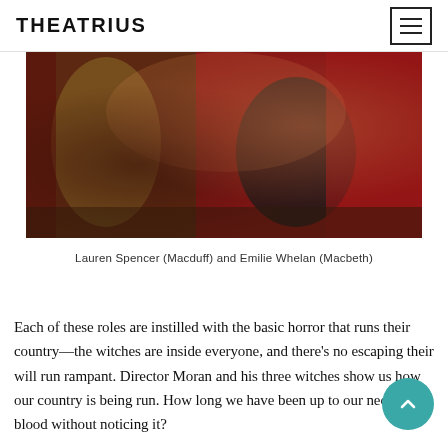THEATRIUS
[Figure (photo): Two actors on stage: one in a brown coat reaching toward the other who is in a black jacket, with a red curtain background — a scene from Macbeth]
Lauren Spencer (Macduff) and Emilie Whelan (Macbeth)
Each of these roles are instilled with the basic horror that runs their country—the witches are inside everyone, and there's no escaping their will run rampant. Director Moran and his three witches show us how our country is being run. How long we have been up to our necks in blood without noticing it?